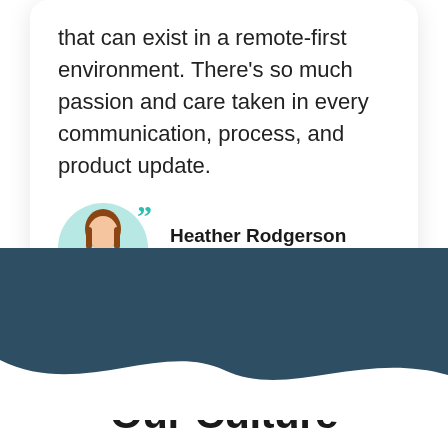that can exist in a remote-first environment. There's so much passion and care taken in every communication, process, and product update.
Heather Rodgerson
Growth Marketer
Our Culture